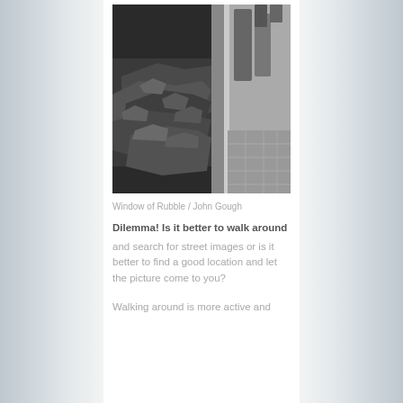[Figure (photo): Black and white photograph titled 'Window of Rubble' by John Gough, showing a pile of broken rubble and debris against a glass window/wall with people walking past reflected in the glass.]
Window of Rubble / John Gough
Dilemma! Is it better to walk around and search for street images or is it better to find a good location and let the picture come to you?
Walking around is more active and